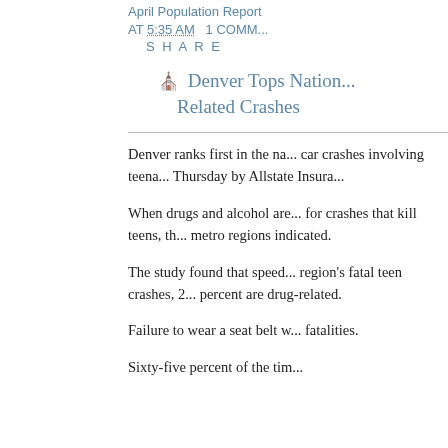April Population Report AT 5:35 AM  1 COMM... SHARE
Denver Tops Nation... Related Crashes
Denver ranks first in the na... car crashes involving teena... Thursday by Allstate Insura...
When drugs and alcohol are... for crashes that kill teens, th... metro regions indicated.
The study found that speed... region's fatal teen crashes, 2... percent are drug-related.
Failure to wear a seat belt w... fatalities.
Sixty-five percent of the tim...